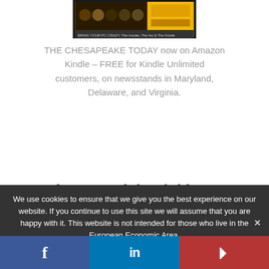[Figure (photo): Thumbnail image of The Chesapeake Today magazine/publication cover on Amazon Kindle, showing group of people with yellow background]
THE CHESAPEAKE TODAY now on Amazon Kindle – FREE for Kindle Unlimited customers, on newsstands in Maryland, Delaware, and Virginia.
It was determined the child was
We use cookies to ensure that we give you the best experience on our website. If you continue to use this site we will assume that you are happy with it. This website is not intended for those who live in the European Economic Area.
[Figure (infographic): Social sharing bar with Facebook, LinkedIn, and Parler buttons]